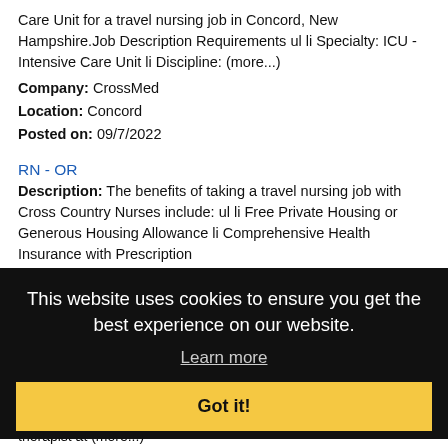Care Unit for a travel nursing job in Concord, New Hampshire. Job Description Requirements ul li Specialty: ICU - Intensive Care Unit li Discipline: (more...)
Company: CrossMed
Location: Concord
Posted on: 09/7/2022
RN - OR
Description: The benefits of taking a travel nursing job with Cross Country Nurses include: ul li Free Private Housing or Generous Housing Allowance li Comprehensive Health Insurance with Prescription
Company: Cross Country Nurses
Location: Concord
Po...
Massage Therapist (Part Time)
Description: Overview... to focus on doing what you love in a place that helps you feel and deliver your best. Massage Envy is the leader in accessible massage and skin care. As a massage therapist at (more...)
Company: massage envy
Location: East Providence
Posted on: 09/7/2022
This website uses cookies to ensure you get the best experience on our website.
Learn more
Got it!